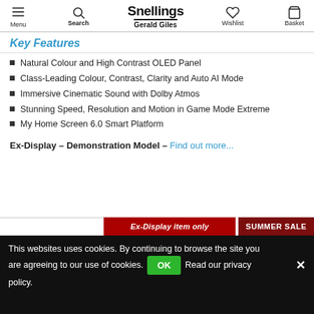Menu | Search | Snellings Gerald Giles | Wishlist | Basket
Key Features
Natural Colour and High Contrast OLED Panel
Class-Leading Colour, Contrast, Clarity and Auto AI Mode
Immersive Cinematic Sound with Dolby Atmos
Stunning Speed, Resolution and Motion in Game Mode Extreme
My Home Screen 6.0 Smart Platform
Ex-Display – Demonstration Model – Find out more...
Ex-Display item only | SUMMER SALE
This websites uses cookies. By continuing to browse the site you are agreeing to our use of cookies. OK Read our privacy policy.